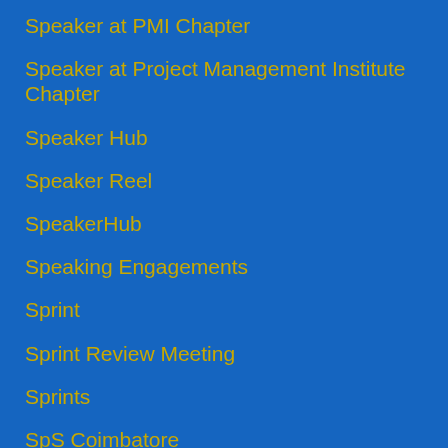Speaker at PMI Chapter
Speaker at Project Management Institute Chapter
Speaker Hub
Speaker Reel
SpeakerHub
Speaking Engagements
Sprint
Sprint Review Meeting
Sprints
SpS Coimbatore